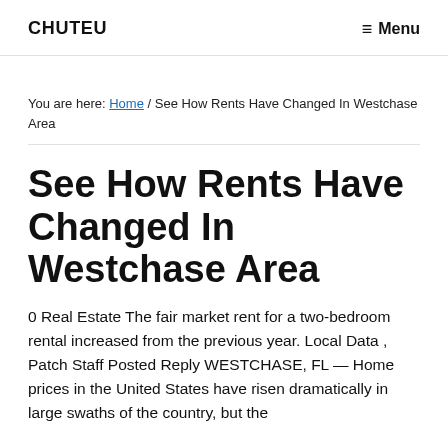CHUTEU   ≡ Menu
You are here: Home / See How Rents Have Changed In Westchase Area
See How Rents Have Changed In Westchase Area
0 Real Estate The fair market rent for a two-bedroom rental increased from the previous year. Local Data , Patch Staff Posted Reply WESTCHASE, FL — Home prices in the United States have risen dramatically in large swaths of the country, but the